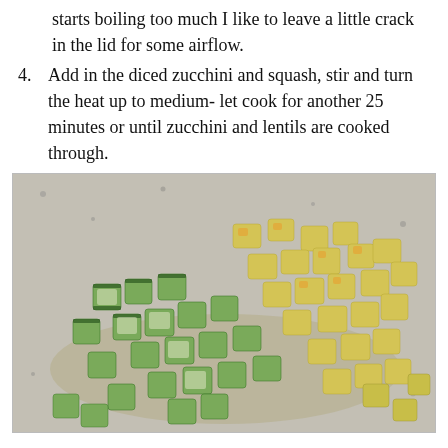starts boiling too much I like to leave a little crack in the lid for some airflow.
4. Add in the diced zucchini and squash, stir and turn the heat up to medium- let cook for another 25 minutes or until zucchini and lentils are cooked through.
[Figure (photo): Photo of diced zucchini and yellow squash pieces on a granite countertop surface.]